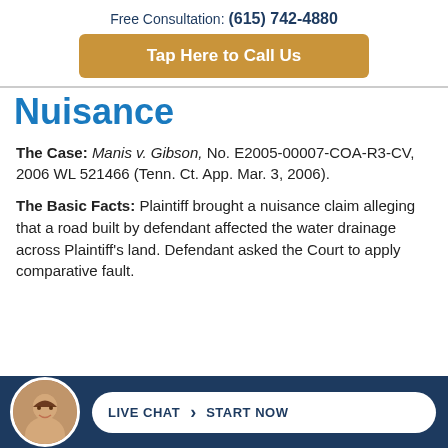Free Consultation: (615) 742-4880
[Figure (other): Golden/tan rounded rectangle button with white bold text: Tap Here to Call Us]
Nuisance
The Case: Manis v. Gibson, No. E2005-00007-COA-R3-CV, 2006 WL 521466 (Tenn. Ct. App. Mar. 3, 2006).
The Basic Facts: Plaintiff brought a nuisance claim alleging that a road built by defendant affected the water drainage across Plaintiff's land. Defendant asked the Court to apply comparative fault.
[Figure (other): Dark navy footer bar with circular avatar photo of a man smiling, and a white pill-shaped Live Chat button with text LIVE CHAT and START NOW separated by a chevron arrow.]